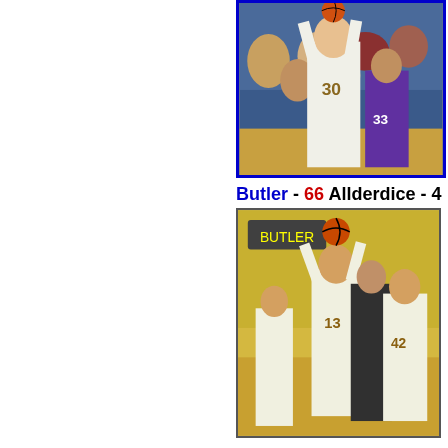[Figure (photo): Basketball game photo showing a Butler player #30 in white uniform shooting, defended by opponent #33 in purple uniform, with spectators in the background. Blue border around photo.]
Butler - 66 Allderdice - 4
[Figure (photo): Basketball game photo showing Butler players in white/gold uniforms competing for a rebound or jump ball against opponents in dark uniforms, gym with yellow walls in background.]